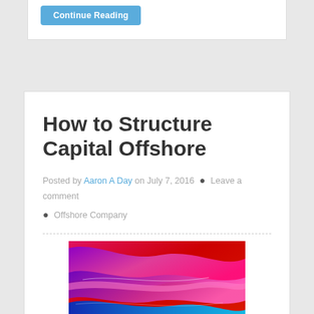Continue Reading
How to Structure Capital Offshore
Posted by Aaron A Day on July 7, 2016 · Leave a comment · Offshore Company
[Figure (photo): Abstract colorful swirling waves image with pink, magenta, red, blue, and teal colors]